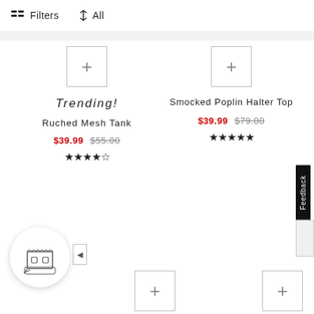Filters  ↕ All
Trending!
Ruched Mesh Tank
$39.99  $55.00  ★★★★☆
Smocked Poplin Halter Top
$39.99  $79.00  ★★★★★